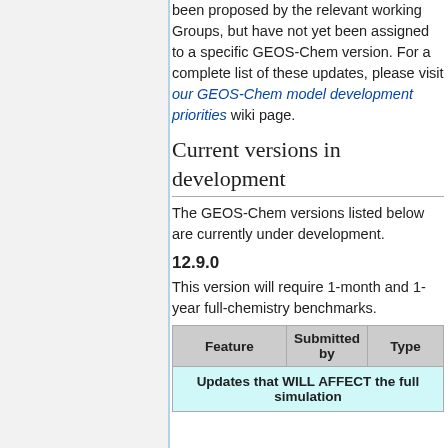been proposed by the relevant working Groups, but have not yet been assigned to a specific GEOS-Chem version. For a complete list of these updates, please visit our GEOS-Chem model development priorities wiki page.
Current versions in development
The GEOS-Chem versions listed below are currently under development.
12.9.0
This version will require 1-month and 1-year full-chemistry benchmarks.
| Feature | Submitted by | Type |
| --- | --- | --- |
| Updates that WILL AFFECT the full simulation |